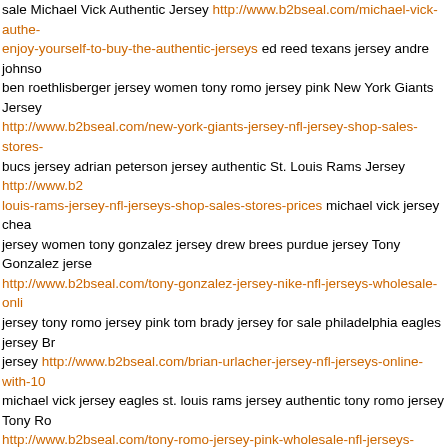sale Michael Vick Authentic Jersey http://www.b2bseal.com/michael-vick-authe... enjoy-yourself-to-buy-the-authentic-jerseys ed reed texans jersey andre johnson ben roethlisberger jersey women tony romo jersey pink New York Giants Jersey http://www.b2bseal.com/new-york-giants-jersey-nfl-jersey-shop-sales-stores-... bucs jersey adrian peterson jersey authentic St. Louis Rams Jersey http://www.b2... louis-rams-jersey-nfl-jerseys-shop-sales-stores-prices michael vick jersey chea... jersey women tony gonzalez jersey drew brees purdue jersey Tony Gonzalez jersey http://www.b2bseal.com/tony-gonzalez-jersey-nike-nfl-jerseys-wholesale-onli... jersey tony romo jersey pink tom brady jersey for sale philadelphia eagles jersey Br... jersey http://www.b2bseal.com/brian-urlacher-jersey-nfl-jerseys-online-with-10 michael vick jersey eagles st. louis rams jersey authentic tony romo jersey Tony Ro... http://www.b2bseal.com/tony-romo-jersey-pink-wholesale-nfl-jerseys-shop-sa... prices eli manning mens jersey drew brees purdue jersey michael vick jersey chea... http://www.b2bseal.com/michael-vick-jersey-cheap-enjoy-yourself-to-buy-the-... jerseys joe thomas jersey ben roethlisberger jersey reebok tom brady jersey for sa... http://www.b2bseal.com/tom-brady-jersey-for-sale-nfl-jerseys-from-china-usa... favre bucs jersey tony gonzalez jersey adrian peterson bears jersey Devin Hester J... http://www.b2bseal.com/devin-hester-jersey-nfl-jerseys-for-sale michael vick je... andre johnson jersey women tony romo jersey pink Maurice Jones-Drew jersey http://www.b2bseal.com/maurice-jones-drew-jersey-nfl-jerseys-outlet-online-s... vick jersey cheap ed reed texans jersey michael vick jersey eagles Andre Johnson ... http://www.b2bseal.com/andre-johnson-jersey-black-china-nfl-jerseys-usa-on... manning mens jersey tony gonzalez jersey Joe Thomas Jersey http://www.b2bsea... thomas-jersey-buy-nfl-jerseys-from-our-online-store philadelphia eagles jersey jersey authentic favre bucs jersey ADRIAN PETERSON JERSEY AUTHENTIC http://www.b2bseal.com/adrian-peterson-jersey-authentic-reebok-nfl-jerseys-... stores-prices tom brady jersey for sale adrian peterson jersey authentic favre bucs http://www.b2bseal.com/favre-bucs-jersey-for-womensmensyouth-and-kids b... jersey reebok marc bulger replica jersey adrian peterson jersey authentic adrian pe... jersey http://www.b2bseal.com/adrian-peterson-bears-jersey-nfl-jerseys-whole...